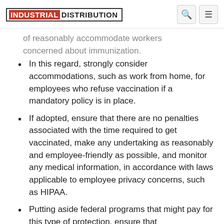INDUSTRIAL DISTRIBUTION
of reasonably accommodate workers concerned about immunization.
In this regard, strongly consider accommodations, such as work from home, for employees who refuse vaccination if a mandatory policy is in place.
If adopted, ensure that there are no penalties associated with the time required to get vaccinated, make any undertaking as reasonably and employee-friendly as possible, and monitor any medical information, in accordance with laws applicable to employee privacy concerns, such as HIPAA.
Putting aside federal programs that might pay for this type of protection, ensure that